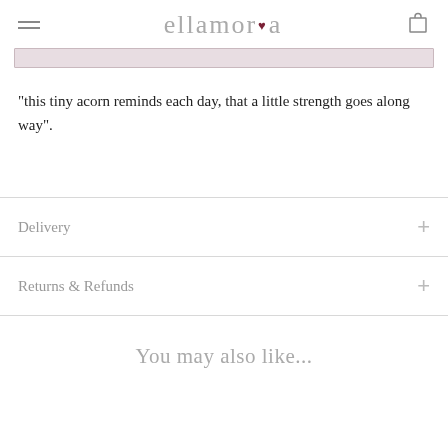ellamora
"this tiny acorn reminds each day, that a little strength goes along way".
Delivery
Returns & Refunds
You may also like...